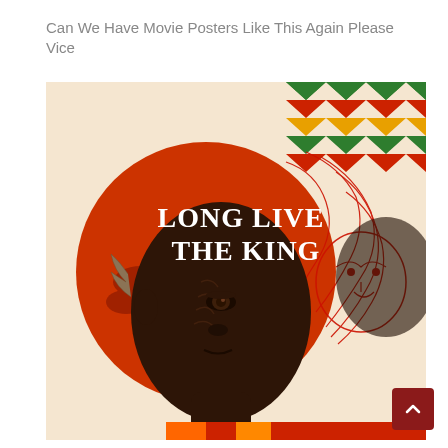Can We Have Movie Posters Like This Again Please
Vice
[Figure (illustration): A stylized illustrated movie poster for Black Panther featuring a close-up portrait of a dark-skinned man with tribal face markings, set against a large red/orange circle with an African tree silhouette. On the right side, a lion illustration merges with the figure. Text reads 'LONG LIVE THE KING' in white serif font. Colorful zigzag pattern in green, red, and yellow appears in the top-right corner.]